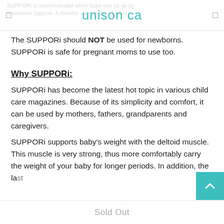unison ca
The SUPPORi should NOT be used for newborns. SUPPORi is safe for pregnant moms to use too.
Why SUPPORi:
SUPPORi has become the latest hot topic in various child care magazines. Because of its simplicity and comfort, it can be used by mothers, fathers, grandparents and caregivers.
SUPPORi supports baby's weight with the deltoid muscle. This muscle is very strong, thus more comfortably carry the weight of your baby for longer periods. In addition, the la...
Sold Out